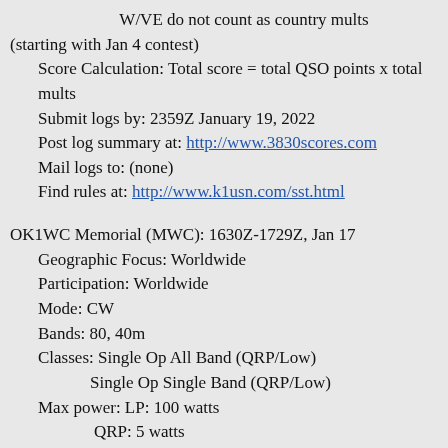W/VE do not count as country mults (starting with Jan 4 contest)
Score Calculation: Total score = total QSO points x total mults
Submit logs by: 2359Z January 19, 2022
Post log summary at: http://www.3830scores.com
Mail logs to: (none)
Find rules at: http://www.k1usn.com/sst.html
OK1WC Memorial (MWC): 1630Z-1729Z, Jan 17
Geographic Focus: Worldwide
Participation: Worldwide
Mode: CW
Bands: 80, 40m
Classes: Single Op All Band (QRP/Low)
        Single Op Single Band (QRP/Low)
Max power: LP: 100 watts
         QRP: 5 watts
Exchange: RST + Serial No.